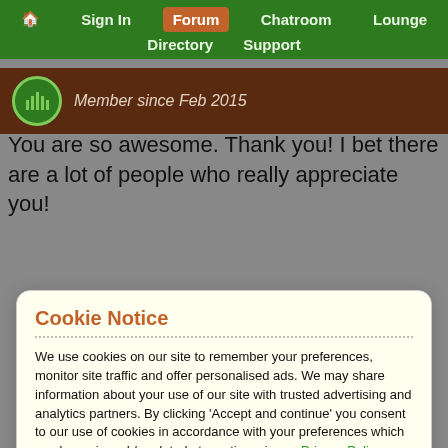🏠 Sign In | Forum | Chatroom | Lounge | Directory | Support
Member since Feb 2015
You are so awesome. Thank you! I bet there are a lot of people who really appreciate you!
Cookie Notice
We use cookies on our site to remember your preferences, monitor site traffic and offer personalised ads. We may share information about your use of our site with trusted advertising and analytics partners. By clicking 'Accept and continue' you consent to our use of cookies in accordance with your preferences which can be reviewed / updated at any time via our Privacy Policy.
Accept and continue